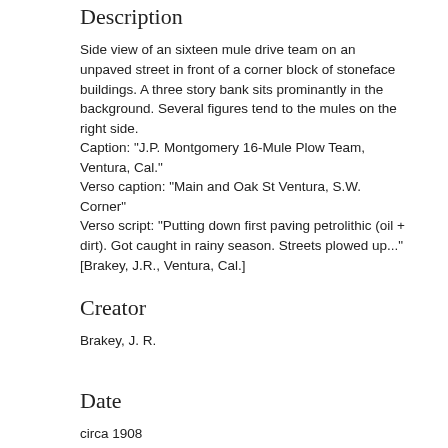Description
Side view of an sixteen mule drive team on an unpaved street in front of a corner block of stoneface buildings. A three story bank sits prominantly in the background. Several figures tend to the mules on the right side.
Caption: "J.P. Montgomery 16-Mule Plow Team, Ventura, Cal."
Verso caption: "Main and Oak St Ventura, S.W. Corner"
Verso script: "Putting down first paving petrolithic (oil + dirt). Got caught in rainy season. Streets plowed up..."
[Brakey, J.R., Ventura, Cal.]
Creator
Brakey, J. R.
Date
circa 1908